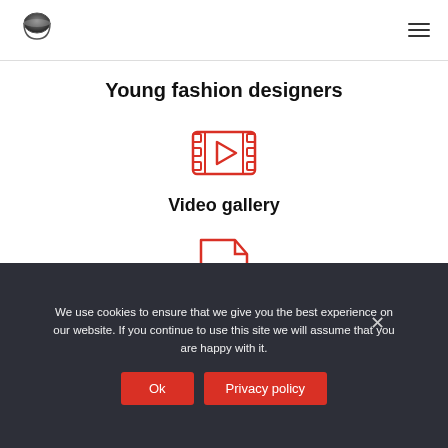[Figure (logo): Circular logo with bowl/ring shape, dark gray gradient]
[Figure (illustration): Hamburger menu icon (three horizontal lines)]
Young fashion designers
[Figure (illustration): Red video gallery icon: film strip with play button triangle in center]
Video gallery
[Figure (illustration): Red PDF document icon: folded-corner page with PDF label]
We use cookies to ensure that we give you the best experience on our website. If you continue to use this site we will assume that you are happy with it.
Ok
Privacy policy